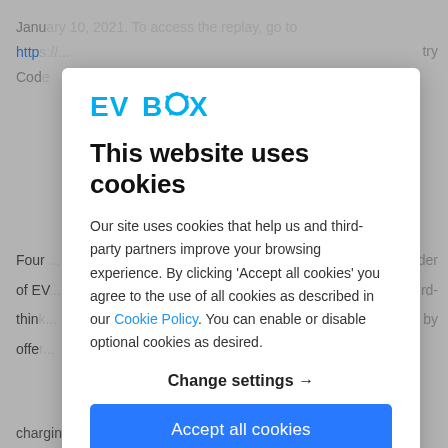January 10, 2021. To access the replay, go to
http [link] ... try
Code
[Figure (logo): EVBox logo in blue/cyan color]
This website uses cookies
Our site uses cookies that help us and third-party partners improve your browsing experience. By clicking 'Accept all cookies' you agree to the use of all cookies as described in our Cookie Policy. You can enable or disable optional cookies as desired.
Four ... ider of EV ... rd- think ... s, by offer ...
Change settings →
Accept all cookies
charging solutions. As a technology pioneer, EVBox